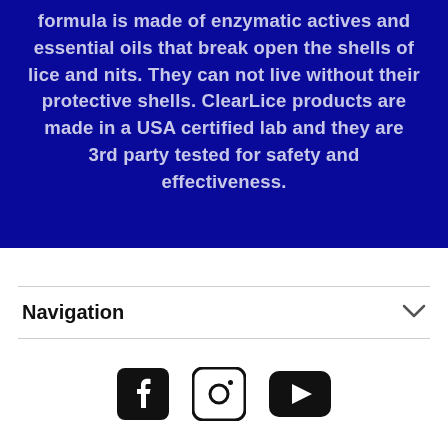formula is made of enzymatic actives and essential oils that break open the shells of lice and nits. They can not live without their protective shells. ClearLice products are made in a USA certified lab and they are 3rd party tested for safety and effectiveness.
Navigation
[Figure (other): Social media icons: Facebook, Instagram, YouTube]